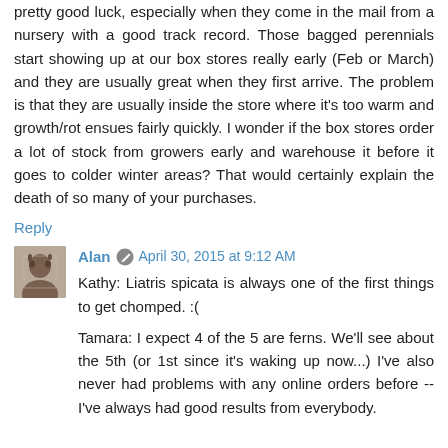pretty good luck, especially when they come in the mail from a nursery with a good track record. Those bagged perennials start showing up at our box stores really early (Feb or March) and they are usually great when they first arrive. The problem is that they are usually inside the store where it's too warm and growth/rot ensues fairly quickly. I wonder if the box stores order a lot of stock from growers early and warehouse it before it goes to colder winter areas? That would certainly explain the death of so many of your purchases.
Reply
Alan  April 30, 2015 at 9:12 AM
Kathy: Liatris spicata is always one of the first things to get chomped. :(

Tamara: I expect 4 of the 5 are ferns. We'll see about the 5th (or 1st since it's waking up now...) I've also never had problems with any online orders before -- I've always had good results from everybody.